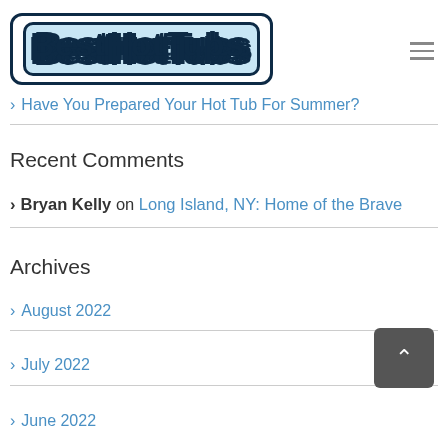[Figure (logo): BestHotTubs logo with stylized bubbly text in white with dark blue border and light blue fill]
> Have You Prepared Your Hot Tub For Summer?
Recent Comments
> Bryan Kelly on Long Island, NY: Home of the Brave
Archives
> August 2022
> July 2022
> June 2022